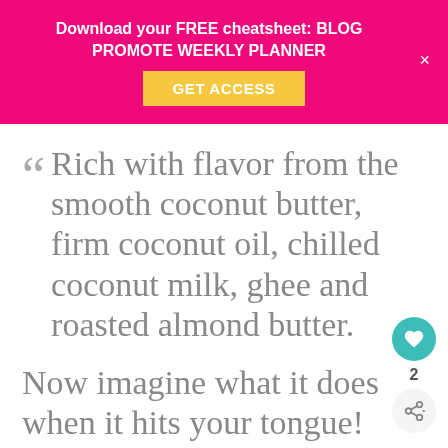Download your FREE cheatsheet: BLOG PROMOTE WEEKLY PLANNER
Rich with flavor from the smooth coconut butter, firm coconut oil, chilled coconut milk, ghee and roasted almond butter.
Now imagine what it does when it hits your tongue!